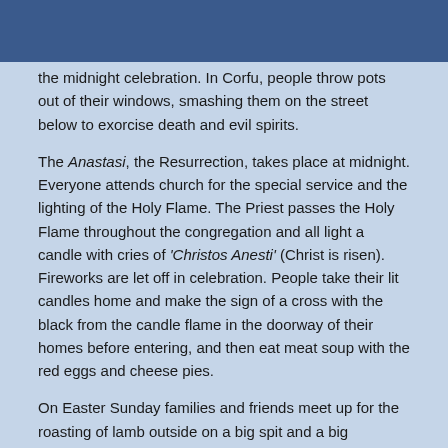the midnight celebration. In Corfu, people throw pots out of their windows, smashing them on the street below to exorcise death and evil spirits.
The Anastasi, the Resurrection, takes place at midnight. Everyone attends church for the special service and the lighting of the Holy Flame. The Priest passes the Holy Flame throughout the congregation and all light a candle with cries of ‘Christos Anesti’ (Christ is risen). Fireworks are let off in celebration. People take their lit candles home and make the sign of a cross with the black from the candle flame in the doorway of their homes before entering, and then eat meat soup with the red eggs and cheese pies.
On Easter Sunday families and friends meet up for the roasting of lamb outside on a big spit and a big celebration party with food, wine, music and dancing all day long.